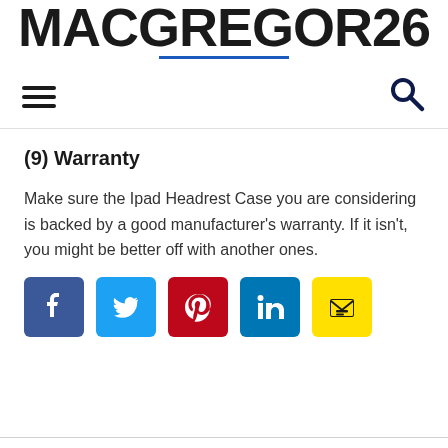MACGREGOR26
(9) Warranty
Make sure the Ipad Headrest Case you are considering is backed by a good manufacturer’s warranty. If it isn’t, you might be better off with another ones.
[Figure (other): Social share buttons: Facebook, Twitter, Pinterest, LinkedIn, Email]